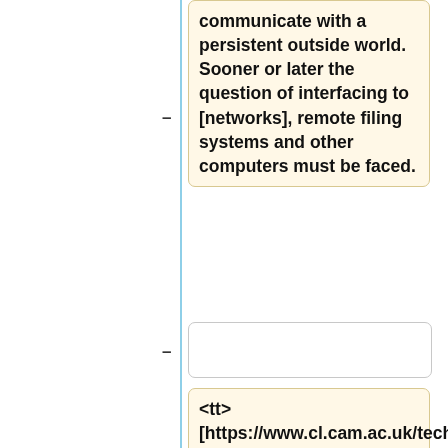communicate with a persistent outside world. Sooner or later the question of interfacing to [networks], remote filing systems and other computers must be faced.
<tt> [https://www.cl.cam.ac.uk/techreports/UCAM-CL-TR-56.pdf A New Scheme for Writing Functional...